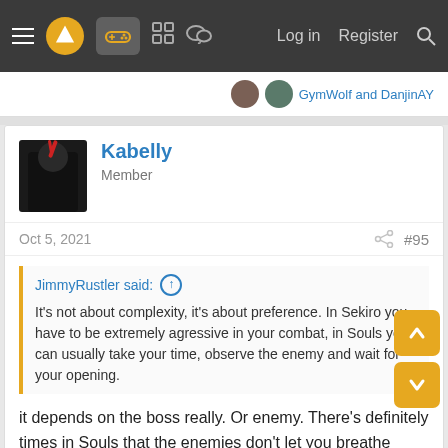Navigation bar with menu, logo, controller icon, grid icon, chat icon, Log in, Register, Search
GymWolf and DanjinAY
Kabelly
Member
Oct 5, 2021  #95
JimmyRustler said: ↑
It's not about complexity, it's about preference. In Sekiro you have to be extremely agressive in your combat, in Souls you can usually take your time, observe the enemy and wait for your opening.
it depends on the boss really. Or enemy. There's definitely times in Souls that the enemies don't let you breathe either. You're just running. And dodging and dodging and dodging.
in Sekiro you can be very observant as well imo. To actually DEFEAT an enemy you have to be aggressive because